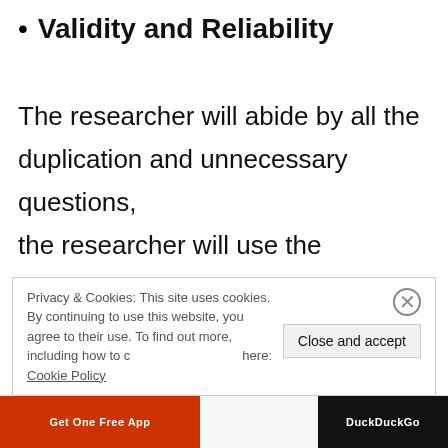Validity and Reliability
The researcher will abide by all the duplication and unnecessary questions, the researcher will use the questions relevant to the objectives of the research. The researcher will use such tools and
Privacy & Cookies: This site uses cookies. By continuing to use this website, you agree to their use. To find out more, including how to control cookies, see here: Cookie Policy
[Figure (screenshot): Browser bottom bar with orange 'Get One Free App' button on left and DuckDuckGo button on right]